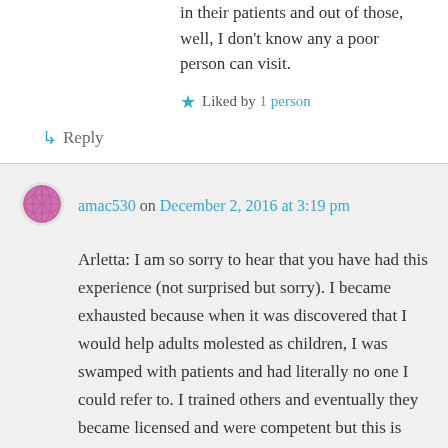in their patients and out of those, well, I don't know any a poor person can visit.
Liked by 1 person
↳ Reply
amac530 on December 2, 2016 at 3:19 pm
Arletta: I am so sorry to hear that you have had this experience (not surprised but sorry). I became exhausted because when it was discovered that I would help adults molested as children, I was swamped with patients and had literally no one I could refer to. I trained others and eventually they became licensed and were competent but this is very hard work and very sad in the